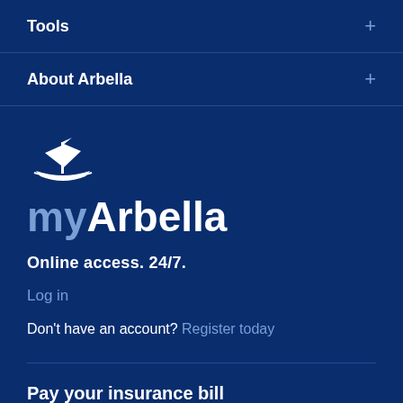Tools
About Arbella
[Figure (logo): myArbella logo — white sailing ship icon above the text 'myArbella' with 'my' in light blue and 'Arbella' in white]
Online access. 24/7.
Log in
Don't have an account? Register today
Pay your insurance bill